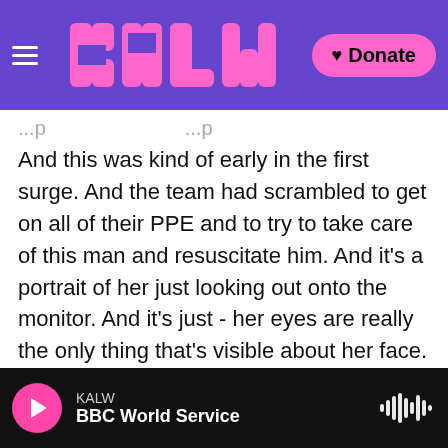KALW / BBC World Service — navigation header with logo and Donate button
And this was kind of early in the first surge. And the team had scrambled to get on all of their PPE and to try to take care of this man and resuscitate him. And it's a portrait of her just looking out onto the monitor. And it's just - her eyes are really the only thing that's visible about her face. And there's just such a sense of deep hope for the monitor to show, you know, a sustainable heartbeat, some sign of life.
And to just see her in that moment and to know that exact feeling of fear and vulnerability and hope all entwined together through her has really been
KALW — BBC World Service